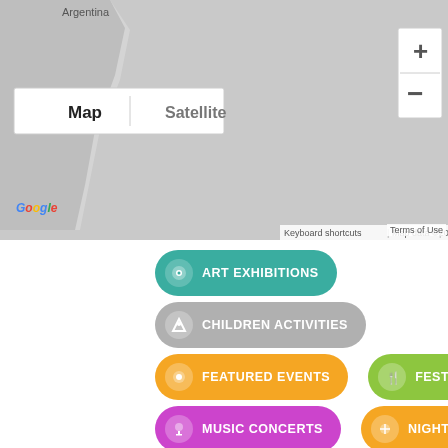[Figure (screenshot): Google Maps embedded map showing Argentina region with Map/Satellite toggle, zoom controls (+/-), Google logo, and map attribution bar (Keyboard shortcuts | Map data ©2022 | Terms of Use)]
ART EXHIBITIONS
CHILDREN ACTIVITIES
FEATURED EVENTS
FESTIVALS
MUSIC CONCERTS
NIGHTLIFE
SPORTS
THEATRE
TOP EVENTS
WORKSHOPS AND LECTURES